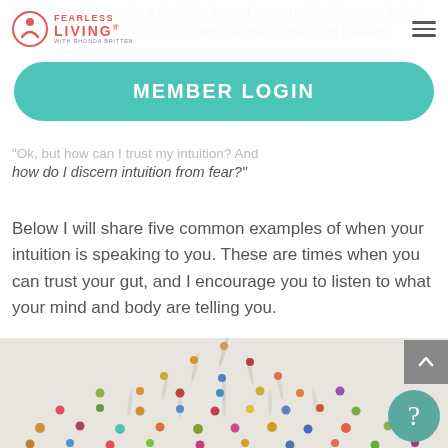Fearless Living with Rhonda Britten — MEMBER LOGIN navigation
Plus, once you make a decision based on your intuition, you'll start trusting it, and soon, your intuition will get louder and clearer.
MEMBER LOGIN
"Ok, but how can I trust my intuition? And how do I discern intuition from fear?"
Below I will share five common examples of when your intuition is speaking to you. These are times when you can trust your gut, and I encourage you to listen to what your mind and body are telling you.
[Figure (photo): Aerial view of many colorful miniature human figurines arranged on a white surface, casting shadows, viewed from above.]